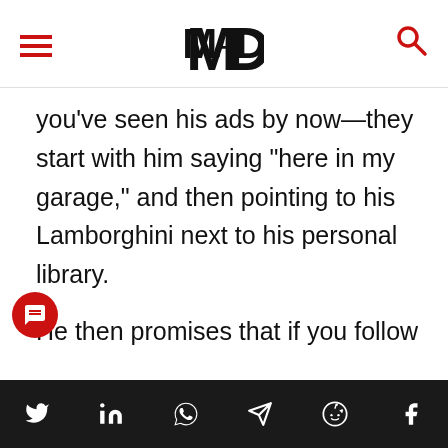MD (logo with hamburger menu and search icon)
you’ve seen his ads by now—they start with him saying “here in my garage,” and then pointing to his Lamborghini next to his personal library.
He then promises that if you follow his “67 Steps” program, you’ll generate MASSIVE wealth…more than you ever thought was possible.
Social share icons: Twitter, LinkedIn, WhatsApp, Telegram, Reddit, Facebook